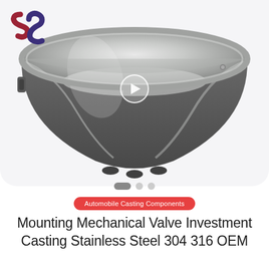[Figure (photo): A large round stainless steel investment casting bowl/valve component. The interior is polished/machined bright silver, and the exterior is matte dark gray. Three small feet visible at the base. A play button overlay is visible in the center of the image. A company logo (two overlapping S-shapes in dark red/maroon and dark purple) appears in the top-left corner. Slide navigation dots appear below the image.]
Automobile Casting Components
Mounting Mechanical Valve Investment Casting Stainless Steel 304 316 OEM